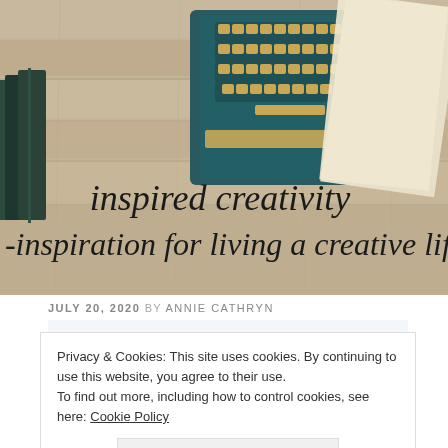[Figure (photo): Hero banner image showing a vintage teal typewriter on a rustic wooden surface with books and papers, overlaid with script text reading 'inspired creativity -inspiration for living a creative life']
JULY 20, 2020 BY ANNIE CATHRYN
Privacy & Cookies: This site uses cookies. By continuing to use this website, you agree to their use.
To find out more, including how to control cookies, see here: Cookie Policy
Close and accept
Discover where you belong with online